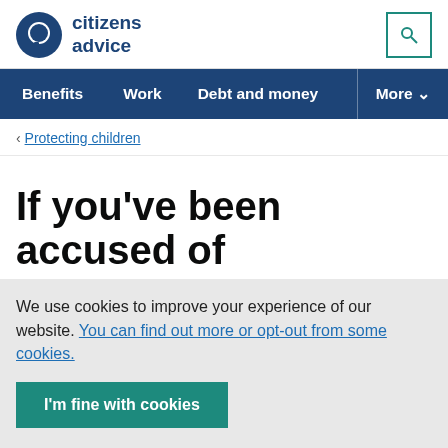[Figure (logo): Citizens Advice logo with dark blue speech bubble circle and bold text 'citizens advice']
Benefits  Work  Debt and money  More
< Protecting children
If you've been accused of
We use cookies to improve your experience of our website. You can find out more or opt-out from some cookies.
I'm fine with cookies